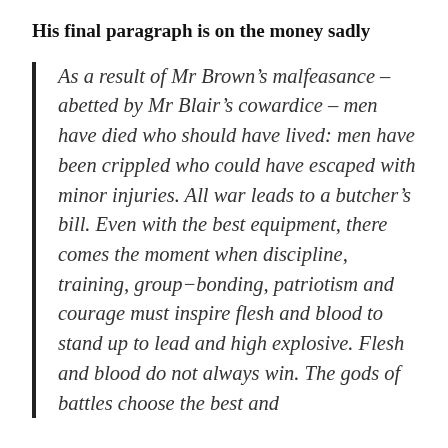His final paragraph is on the money sadly
As a result of Mr Brown’s malfeasance – abetted by Mr Blair’s cowardice – men have died who should have lived: men have been crippled who could have escaped with minor injuries. All war leads to a butcher’s bill. Even with the best equipment, there comes the moment when discipline, training, group-bonding, patriotism and courage must inspire flesh and blood to stand up to lead and high explosive. Flesh and blood do not always win. The gods of battles choose the best and